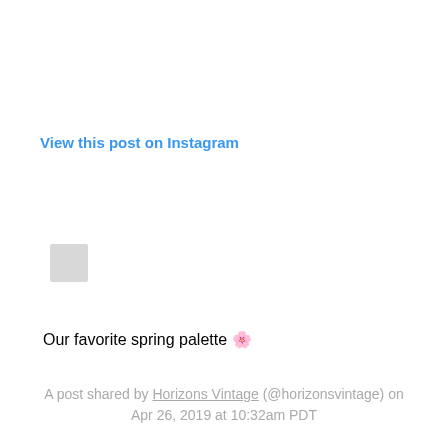View this post on Instagram
[Figure (other): Small gray placeholder box, approximately 38x38px, representing a profile or media thumbnail]
Our favorite spring palette 🌸
A post shared by Horizons Vintage (@horizonsvintage) on Apr 26, 2019 at 10:32am PDT